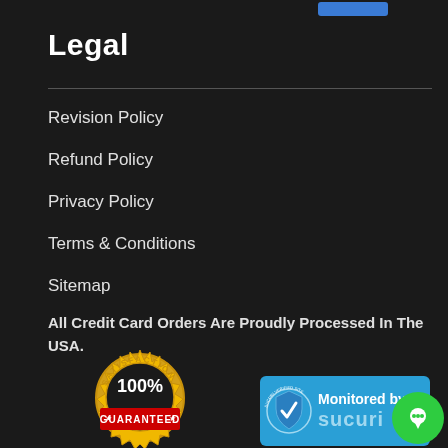[Figure (other): Blue button at top right]
Legal
Revision Policy
Refund Policy
Privacy Policy
Terms & Conditions
Sitemap
All Credit Card Orders Are Proudly Processed In The USA.
[Figure (logo): 100% Satisfaction Guaranteed badge seal]
[Figure (logo): Sucuri Verified Site - Monitored by Sucuri badge with shield icon]